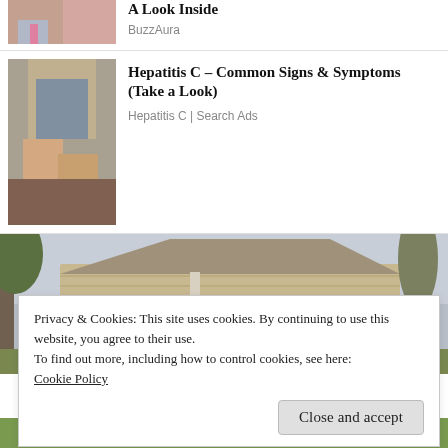[Figure (photo): Partial cropped photo of a man and woman, top of image cut off, visible from chin down — man in suit with pink tie, woman with long brown hair]
A Look Inside
BuzzAura
[Figure (photo): Photo of a woman sitting, wearing a grey vest, knees drawn up]
Hepatitis C – Common Signs & Symptoms (Take a Look)
Hepatitis C | Search Ads
[Figure (photo): Photo of a tan/beige sided house with a peaked roof, trees visible in background, cloudy sky]
Privacy & Cookies: This site uses cookies. By continuing to use this website, you agree to their use.
To find out more, including how to control cookies, see here:
Cookie Policy
Close and accept